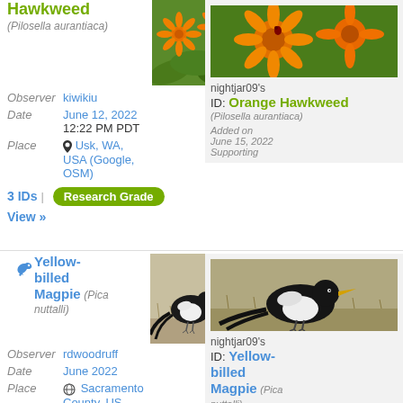Hawkweed (Pilosella aurantiaca)
[Figure (photo): Orange hawkweed flower close-up photo]
Observer kiwikiu
Date June 12, 2022 12:22 PM PDT
Place Usk, WA, USA (Google, OSM)
3 IDs | Research Grade
View »
[Figure (photo): Orange hawkweed flower photo in right card]
nightjar09's ID: Orange Hawkweed (Pilosella aurantiaca) Added on June 15, 2022 Supporting
[Figure (photo): Yellow-billed Magpie bird photo]
Yellow-billed Magpie (Pica nuttalli)
Observer rdwoodruff
Date June 2022
Place Sacramento County, US-CA, US
[Figure (photo): Yellow-billed Magpie bird photo in right card]
nightjar09's ID: Yellow-billed Magpie (Pica nuttalli) Added on June 12, 2022 Supporting